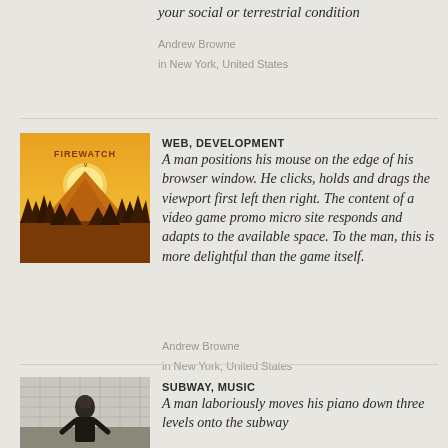your social or terrestrial condition
Andrew Browne
in New York, United States
[Figure (illustration): Firewatch game art: orange/golden sky with mountain silhouette and pine forest trees]
WEB, DEVELOPMENT
A man positions his mouse on the edge of his browser window. He clicks, holds and drags the viewport first left then right. The content of a video game promo micro site responds and adapts to the available space. To the man, this is more delightful than the game itself.
Andrew Browne
in New York, United States
[Figure (photo): A person seen from behind in a subway/underground space with tiled walls]
SUBWAY, MUSIC
A man laboriously moves his piano down three levels onto the subway